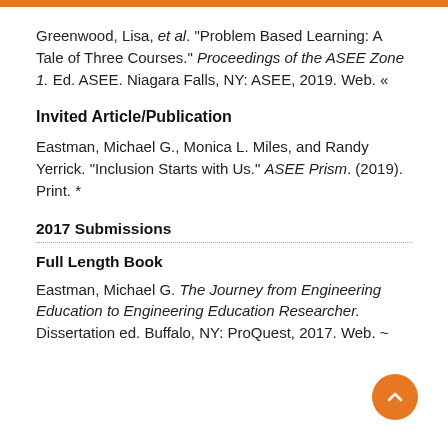Greenwood, Lisa, et al. "Problem Based Learning: A Tale of Three Courses." Proceedings of the ASEE Zone 1. Ed. ASEE. Niagara Falls, NY: ASEE, 2019. Web. «
Invited Article/Publication
Eastman, Michael G., Monica L. Miles, and Randy Yerrick. "Inclusion Starts with Us." ASEE Prism. (2019). Print. *
2017 Submissions
Full Length Book
Eastman, Michael G. The Journey from Engineering Education to Engineering Education Researcher. Dissertation ed. Buffalo, NY: ProQuest, 2017. Web. ~